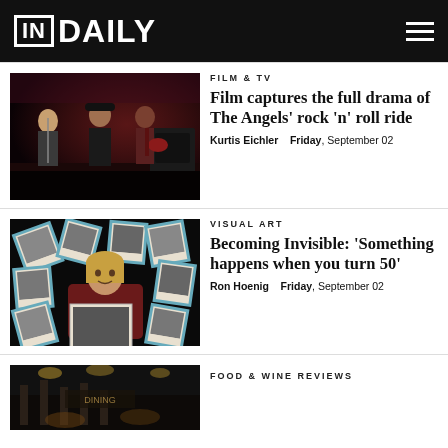IN DAILY
[Figure (photo): Band performing on stage with red stage lighting, guitarist and other musicians visible]
FILM & TV
Film captures the full drama of The Angels' rock 'n' roll ride
Kurtis Eichler   Friday, September 02
[Figure (photo): Woman holding a large Polaroid photo surrounded by many Polaroid photos taped to a dark wall]
VISUAL ART
Becoming Invisible: 'Something happens when you turn 50'
Ron Hoenig   Friday, September 02
[Figure (photo): Dark interior restaurant or bar scene]
FOOD & WINE REVIEWS